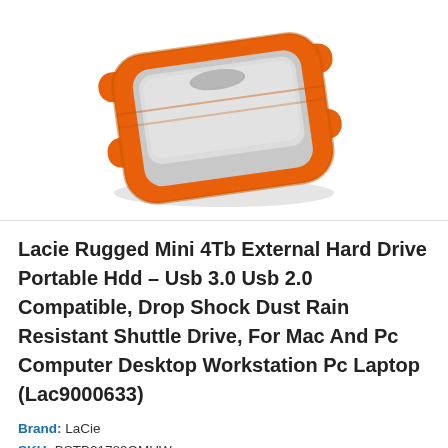[Figure (photo): LaCie Rugged Mini external hard drive with orange rubber bumper casing and silver top, viewed from a slight angle]
Lacie Rugged Mini 4Tb External Hard Drive Portable Hdd – Usb 3.0 Usb 2.0 Compatible, Drop Shock Dust Rain Resistant Shuttle Drive, For Mac And Pc Computer Desktop Workstation Pc Laptop (Lac9000633)
Brand: LaCie
SKU: BSTB01789QMUW